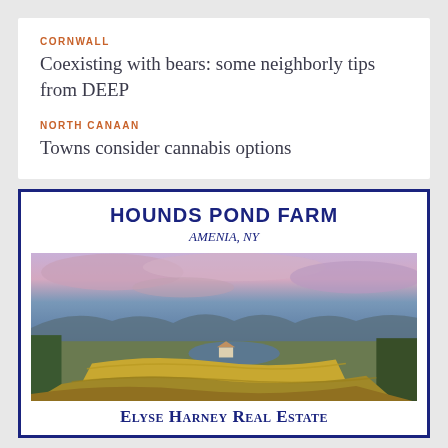CORNWALL
Coexisting with bears: some neighborly tips from DEEP
NORTH CANAAN
Towns consider cannabis options
HOUNDS POND FARM
AMENIA, NY
[Figure (photo): Aerial view of Hounds Pond Farm in Amenia, NY at sunset, showing rolling farmland with fields, a pond, green trees, and colorful sky.]
Elyse Harney Real Estate